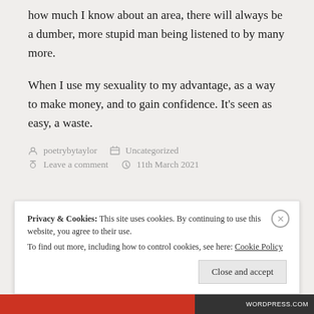how much I know about an area, there will always be a dumber, more stupid man being listened to by many more.
When I use my sexuality to my advantage, as a way to make money, and to gain confidence. It's seen as easy, a waste.
poetrybytaylor   Uncategorized   Leave a comment   11th March 2021
Privacy & Cookies: This site uses cookies. By continuing to use this website, you agree to their use. To find out more, including how to control cookies, see here: Cookie Policy
Close and accept